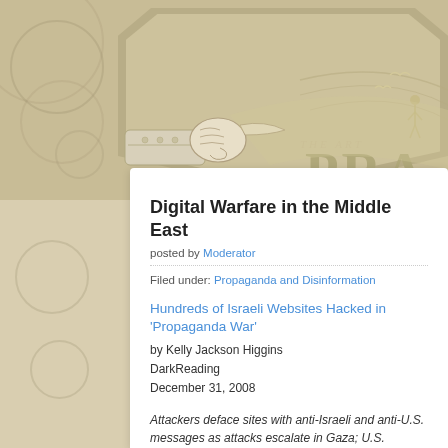[Figure (illustration): Decorative banner with a pointing hand illustration, shield/badge shape, birds, and partial text reading 'THE ART' and 'PRA' (truncated 'PROPAGANDA') on a tan/khaki background]
Digital Warfare in the Middle East
posted by Moderator
Filed under: Propaganda and Disinformation
Hundreds of Israeli Websites Hacked in 'Propaganda War'
by Kelly Jackson Higgins
DarkReading
December 31, 2008
Attackers deface sites with anti-Israeli and anti-U.S. messages as attacks escalate in Gaza; U.S. Webmasters warned to be vigilant
It didn't take long after Isra…